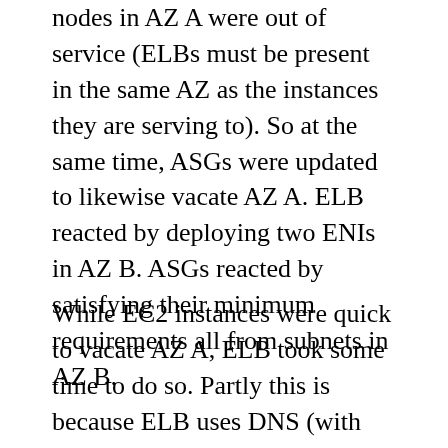nodes in AZ A were out of service (ELBs must be present in the same AZ as the instances they are serving to). So at the same time, ASGs were updated to likewise vacate AZ A. ELB reacted by deploying two ENIs in AZ B. ASGs reacted by satisfying their minimum requirements all from subnets in AZ B.
While EC2 instances were quick to vacate AZ A, ELB took some time to do so. Partly this is because ELB uses DNS (with low TTLs), and needs to wait until a sufficient amount of time has past that most clients would have refreshed their cached lookups and discovered the node(s) of ELB only in AZ B. In my case (and in more than one occasion) the ELB got stuck betting on its ENI in AZ A...